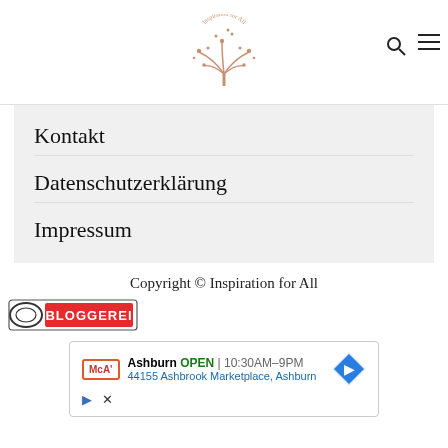Inspiration for All — logo with search and menu icons
Kontakt
Datenschutzerklärung
Impressum
Copyright © Inspiration for All
[Figure (logo): Bloggerei badge/logo]
[Figure (screenshot): Advertisement: McAlister's Deli, Ashburn, OPEN 10:30AM-9PM, 44155 Ashbrook Marketplace, Ashburn]